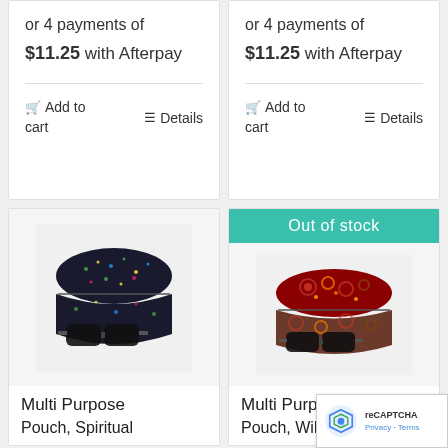or 4 payments of $11.25 with Afterpay
Add to cart
Details
or 4 payments of $11.25 with Afterpay
Add to cart
Details
[Figure (photo): Multi Purpose Pouch with dark patterned fabric and sunglasses case]
Multi Purpose
Pouch, Spiritual
Out of stock
[Figure (photo): Multi Purpose Pouch with colorful patterned fabric and sunglasses case]
Multi Purpose
Pouch, Wild Seeds &